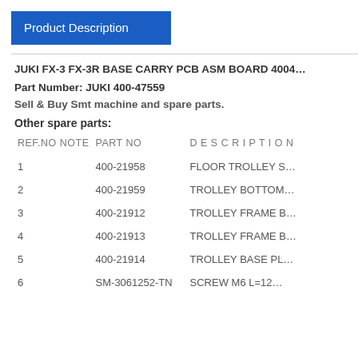Product Description
JUKI FX-3 FX-3R BASE CARRY PCB ASM BOARD 4004...
Part Number: JUKI 400-47559
Sell & Buy Smt machine and spare parts.
Other spare parts:
| REF.NO NOTE | PART NO | DESCRIPTION |
| --- | --- | --- |
| 1 | 400-21958 | FLOOR TROLLEY S... |
| 2 | 400-21959 | TROLLEY BOTTOM... |
| 3 | 400-21912 | TROLLEY FRAME B... |
| 4 | 400-21913 | TROLLEY FRAME B... |
| 5 | 400-21914 | TROLLEY BASE PL... |
| 6 | SM-3061252-TN | SCREW M6 L=12... |